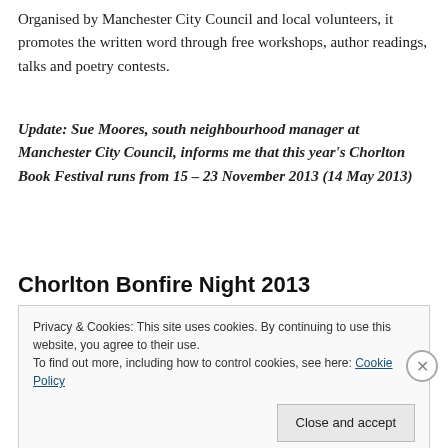Organised by Manchester City Council and local volunteers, it promotes the written word through free workshops, author readings, talks and poetry contests.
Update: Sue Moores, south neighbourhood manager at Manchester City Council, informs me that this year's Chorlton Book Festival runs from 15 – 23 November 2013 (14 May 2013)
Chorlton Bonfire Night 2013
Privacy & Cookies: This site uses cookies. By continuing to use this website, you agree to their use.
To find out more, including how to control cookies, see here: Cookie Policy
Close and accept